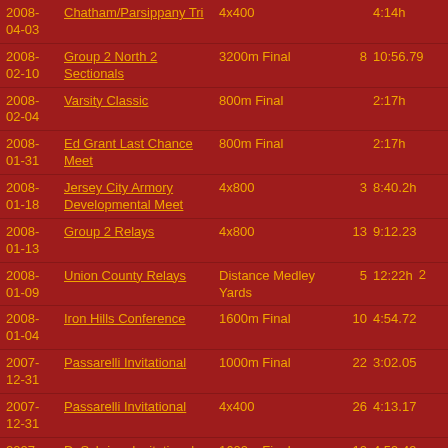| Date | Meet | Event | Place | Time |
| --- | --- | --- | --- | --- |
| 2008-04-03 | Chatham/Parsippany Tri | 4x400 |  | 4:14h |
| 2008-02-10 | Group 2 North 2 Sectionals | 3200m Final | 8 | 10:56.79 |
| 2008-02-04 | Varsity Classic | 800m Final |  | 2:17h |
| 2008-01-31 | Ed Grant Last Chance Meet | 800m Final |  | 2:17h |
| 2008-01-18 | Jersey City Armory Developmental Meet | 4x800 | 3 | 8:40.2h |
| 2008-01-13 | Group 2 Relays | 4x800 | 13 | 9:12.23 |
| 2008-01-09 | Union County Relays | Distance Medley Yards | 5 | 12:22h | 2 |
| 2008-01-04 | Iron Hills Conference | 1600m Final | 10 | 4:54.72 |
| 2007-12-31 | Passarelli Invitational | 1000m Final | 22 | 3:02.05 |
| 2007-12-31 | Passarelli Invitational | 4x400 | 26 | 4:13.17 |
| 2007-12-26 | DeSchriver Invitational | 1600m Final | 10 | 4:59.49 |
| 2007- | DeSchriver... |  |  |  |